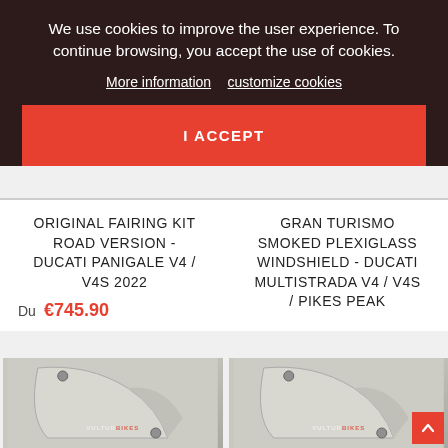We use cookies to improve the user experience. To continue browsing, you accept the use of cookies.
More information   customize cookies
I ACCEPT
ORIGINAL FAIRING KIT ROAD VERSION - DUCATI PANIGALE V4 / V4S 2022
Du €745.90
GRAN TURISMO SMOKED PLEXIGLASS WINDSHIELD - DUCATI MULTISTRADA V4 / V4S / PIKES PEAK
[Figure (photo): Motorcycle fairing part shown in white/light grey with screw detail, Vulturbikes watermark]
[Figure (photo): Motorcycle windshield part shown in white/light grey with screw detail, Vulturbikes watermark]